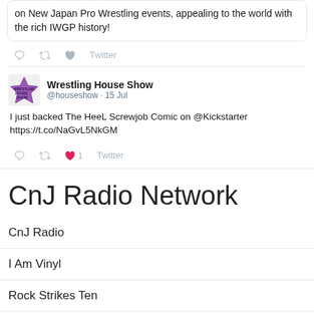on New Japan Pro Wrestling events, appealing to the world with the rich IWGP history!
Twitter
Wrestling House Show @houseshow · 15 Jul
I just backed The HeeL Screwjob Comic on @Kickstarter https://t.co/NaGvL5NkGM
1  Twitter
CnJ Radio Network
CnJ Radio
I Am Vinyl
Rock Strikes Ten
Talking Rock